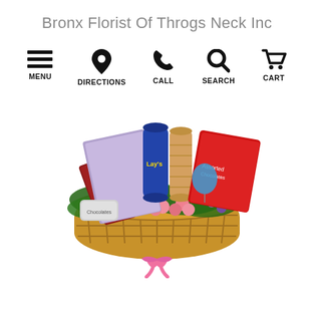Bronx Florist Of Throgs Neck Inc
[Figure (other): Navigation bar with five icons: hamburger menu (MENU), location pin (DIRECTIONS), phone (CALL), magnifying glass (SEARCH), shopping cart (CART)]
[Figure (photo): A gift basket filled with assorted snacks and treats including Tim Tam cookies, Lays chips, chocolates in red boxes, and decorated with pink roses, purple flowers, greenery, and a pink ribbon bow at the bottom.]